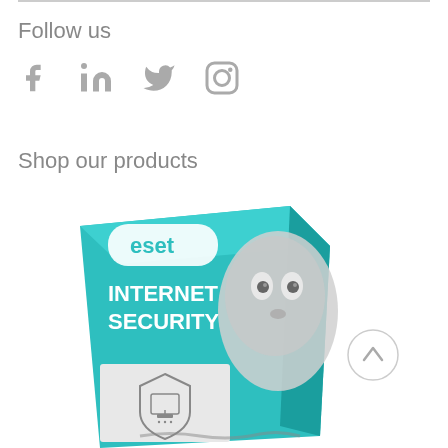Follow us
[Figure (illustration): Social media icons: Facebook (f), LinkedIn (in), Twitter bird, Instagram camera]
Shop our products
[Figure (photo): ESET Internet Security product box with teal/white design, robot face, and shield icon]